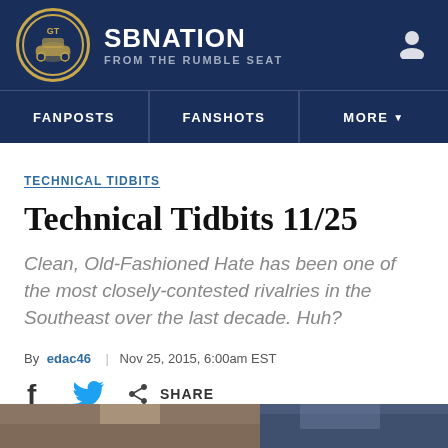SBNATION FROM THE RUMBLE SEAT
TECHNICAL TIDBITS
Technical Tidbits 11/25
Clean, Old-Fashioned Hate has been one of the most closely-contested rivalries in the Southeast over the last decade. Huh?
By edac46 | Nov 25, 2015, 6:00am EST
SHARE